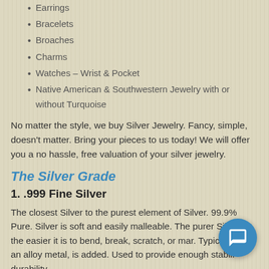Earrings
Bracelets
Broaches
Charms
Watches – Wrist & Pocket
Native American & Southwestern Jewelry with or without Turquoise
No matter the style, we buy Silver Jewelry. Fancy, simple, doesn't matter. Bring your pieces to us today! We will offer you a no hassle, free valuation of your silver jewelry.
The Silver Grade
1. .999 Fine Silver
The closest Silver to the purest element of Silver. 99.9% Pure. Silver is soft and easily malleable. The purer Silver is, the easier it is to bend, break, scratch, or mar. Typically Co an alloy metal, is added. Used to provide enough stability durability.
2. Sterling .925 Silver